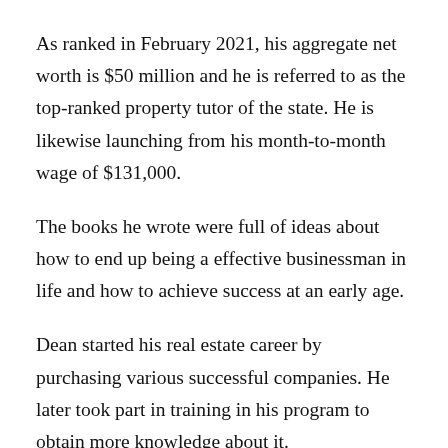As ranked in February 2021, his aggregate net worth is $50 million and he is referred to as the top-ranked property tutor of the state. He is likewise launching from his month-to-month wage of $131,000.
The books he wrote were full of ideas about how to end up being a effective businessman in life and how to achieve success at an early age.
Dean started his real estate career by purchasing various successful companies. He later took part in training in his program to obtain more knowledge about it.
He had effective education from it, and he accelerated his training program to the edge. In 2006, Dean Published he was also called "Totally...